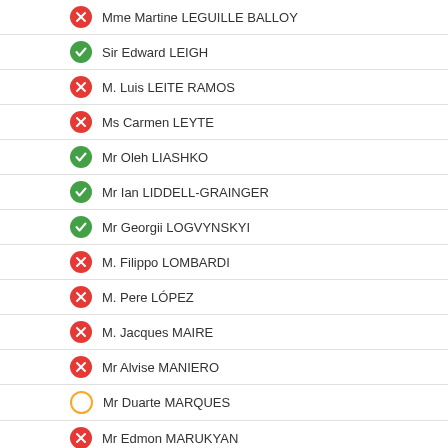Mme Martine LEGUILLE BALLOY
Sir Edward LEIGH
M. Luis LEITE RAMOS
Ms Carmen LEYTE
Mr Oleh LIASHKO
Mr Ian LIDDELL-GRAINGER
Mr Georgii LOGVYNSKYI
M. Filippo LOMBARDI
M. Pere LÓPEZ
M. Jacques MAIRE
Mr Alvise MANIERO
Mr Duarte MARQUES
Mr Edmon MARUKYAN
Mr Maciej MASŁOWSKI
Ms Kerry McCARTHY
Mr Krzysztof MIESZKOWSKI
Ms Stefana MILADINOVIĆ